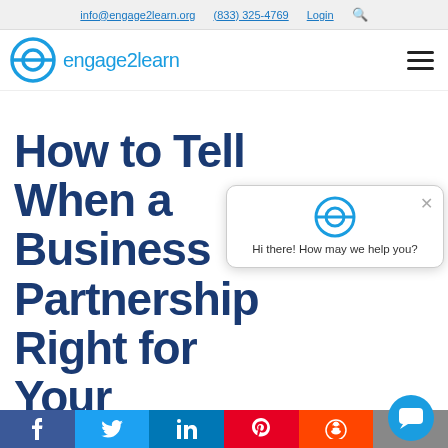info@engage2learn.org   (833) 325-4769   Login
[Figure (logo): engage2learn logo with circular icon and text 'engage2learn' in blue]
How to Tell When a Business Partnership is Right for Your District or
[Figure (other): Chat popup widget with engage2learn logo icon and message 'Hi there! How may we help you?' with close X button]
[Figure (other): Blue circular chat bubble button in bottom right corner]
Facebook  Twitter  LinkedIn  Pinterest  Reddit  (share icon)